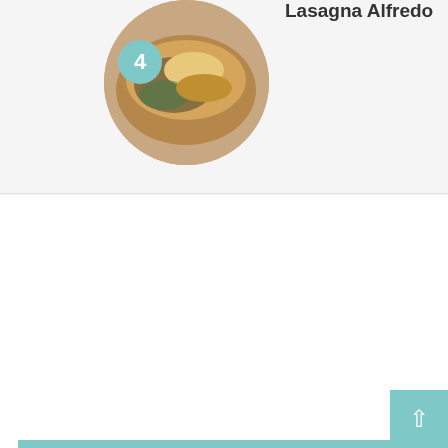[Figure (photo): Circular food photo showing lasagna alfredo with a teal badge showing the number 4]
Lasagna Alfredo
LEAVE A REPLY
Comment *
187 SHARES